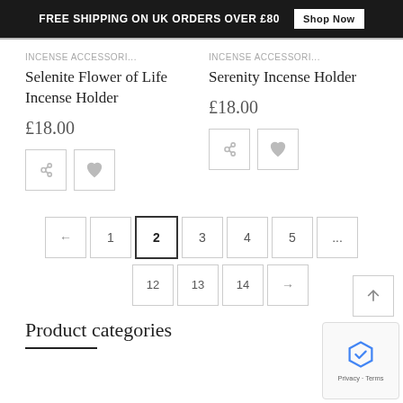FREE SHIPPING ON UK ORDERS OVER £80  Shop Now
INCENSE ACCESSORI...
Selenite Flower of Life Incense Holder
£18.00
INCENSE ACCESSORI...
Serenity Incense Holder
£18.00
← 1 2 3 4 5 ... 12 13 14 →
Product categories